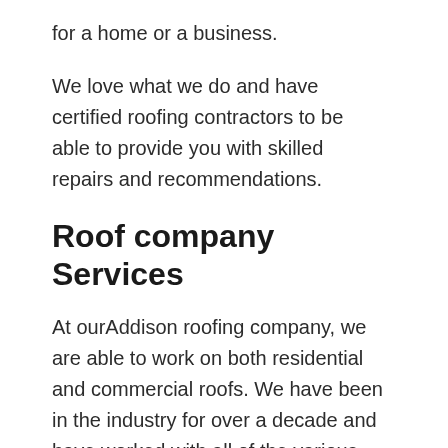for a home or a business.
We love what we do and have certified roofing contractors to be able to provide you with skilled repairs and recommendations.
Roof company Services
At ourAddison roofing company, we are able to work on both residential and commercial roofs. We have been in the industry for over a decade and have worked with all of the various materials and styles. From flat roofs